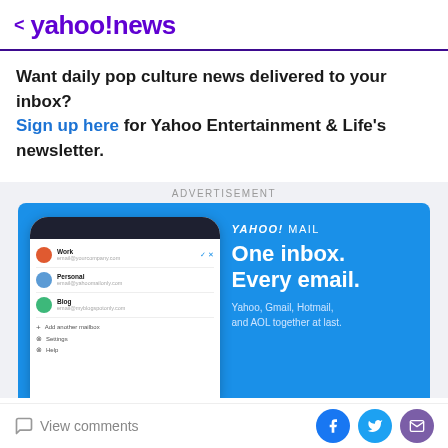< yahoo!news
Want daily pop culture news delivered to your inbox? Sign up here for Yahoo Entertainment & Life's newsletter.
ADVERTISEMENT
[Figure (screenshot): Yahoo Mail advertisement banner showing a smartphone with the Yahoo Mail app open displaying Work, Personal, and Blog email accounts, alongside text 'YAHOO! MAIL One inbox. Every email. Yahoo, Gmail, Hotmail, and AOL together at last.']
View comments